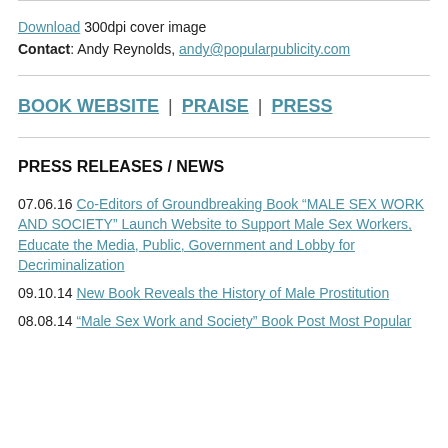Download 300dpi cover image
Contact: Andy Reynolds, andy@popularpublicity.com
BOOK WEBSITE | PRAISE | PRESS
PRESS RELEASES / NEWS
07.06.16 Co-Editors of Groundbreaking Book “MALE SEX WORK AND SOCIETY” Launch Website to Support Male Sex Workers, Educate the Media, Public, Government and Lobby for Decriminalization
09.10.14 New Book Reveals the History of Male Prostitution
08.08.14 “Male Sex Work and Society” Book Post Most Popular